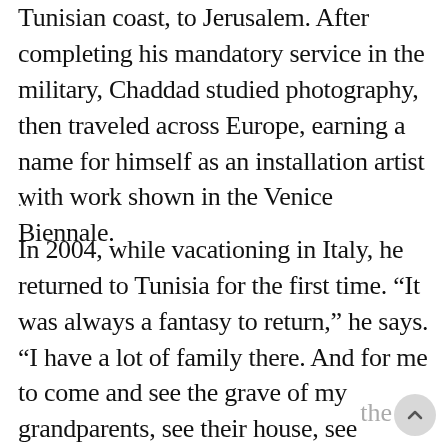Tunisian coast, to Jerusalem. After completing his mandatory service in the military, Chaddad studied photography, then traveled across Europe, earning a name for himself as an installation artist with work shown in the Venice Biennale.
In 2004, while vacationing in Italy, he returned to Tunisia for the first time. “It was always a fantasy to return,” he says. “I have a lot of family there. And for me to come and see the grave of my grandparents, see their house, see everything—it was powerful.” Since then he’s been to Tunisia many times, enjoying summers slightly cooler than Israel’s, coordinating food tours and working as an artist. “I’ve decided this will be my mélange,” Chaddad says. “I’ll live mostly in Yaffo, and a small part of